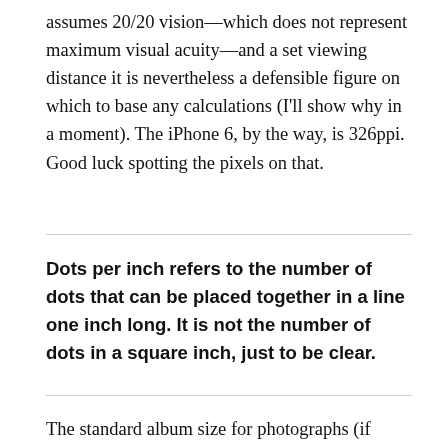assumes 20/20 vision—which does not represent maximum visual acuity—and a set viewing distance it is nevertheless a defensible figure on which to base any calculations (I'll show why in a moment). The iPhone 6, by the way, is 326ppi. Good luck spotting the pixels on that.
Dots per inch refers to the number of dots that can be placed together in a line one inch long. It is not the number of dots in a square inch, just to be clear.
The standard album size for photographs (if